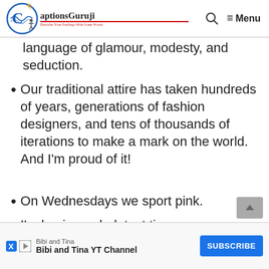CaptionsGuruji — Menu
language of glamour, modesty, and seduction.
Our traditional attire has taken hundreds of years, generations of fashion designers, and tens of thousands of iterations to make a mark on the world. And I'm proud of it!
On Wednesdays we sport pink.
I'm having a dark test time.